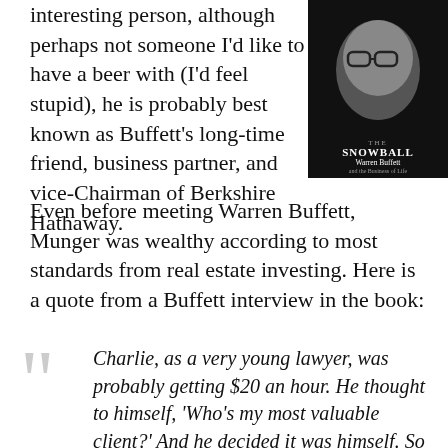interesting person, although perhaps not someone I'd like to have a beer with (I'd feel stupid), he is probably best known as Buffett's long-time friend, business partner, and vice-Chairman of Berkshire Hathaway.
[Figure (photo): Book cover of 'The Snowball: Warren Buffett and the Business of Life' by Alice Schroeder, showing a black and white photo of Warren Buffett's face with glasses.]
Even before meeting Warren Buffett, Munger was wealthy according to most standards from real estate investing. Here is a quote from a Buffett interview in the book:
Charlie, as a very young lawyer, was probably getting $20 an hour. He thought to himself, 'Who's my most valuable client?' And he decided it was himself. So he decided to sell himself